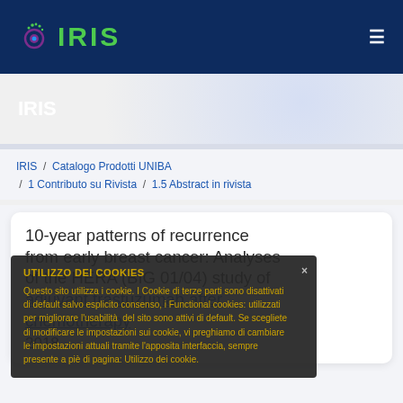[Figure (logo): IRIS repository logo with brain/eye icon and green text on dark blue navigation bar]
IRIS
IRIS / Catalogo Prodotti UNIBA / 1 Contributo su Rivista / 1.5 Abstract in rivista
10-year patterns of recurrence from early breast cancer: Analyses of the HERA (BIG 01/04) study of adjuvant trastuzumab after chemotherapy
2018
UTILIZZO DEI COOKIES
Questo sito utilizza i cookie. I Cookie di terze parti sono disattivati di default salvo esplicito consenso, i Functional cookies: utilizzati per migliorare l'usabilità del sito sono attivi di default. Se scegliete di modificare le impostazioni sui cookie, vi preghiamo di cambiare le impostazioni attuali tramite l'apposita interfaccia, sempre presente a piè di pagina: Utilizzo dei cookie.